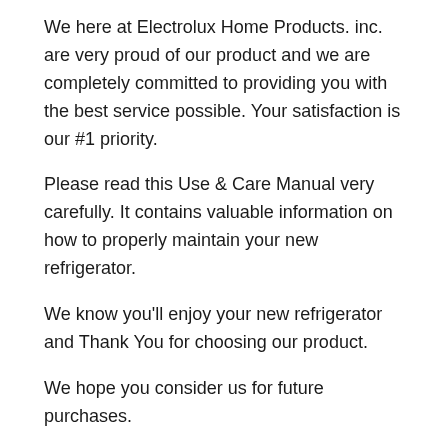We here at Electrolux Home Products. inc. are very proud of our product and we are completely committed to providing you with the best service possible. Your satisfaction is our #1 priority.
Please read this Use & Care Manual very carefully. It contains valuable information on how to properly maintain your new refrigerator.
We know you'll enjoy your new refrigerator and Thank You for choosing our product.
We hope you consider us for future purchases.
PLEASE READ AND SAVETHESE INSTRUCTIONS
This Use & Care Manual provides specific operating instructions for your model Use your refrigerator only as instructed in this manual These instructions are